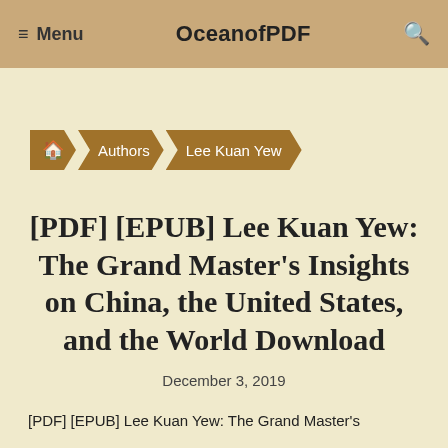≡ Menu  OceanofPDF  🔍
🏠 Authors Lee Kuan Yew
[PDF] [EPUB] Lee Kuan Yew: The Grand Master's Insights on China, the United States, and the World Download
December 3, 2019
[PDF] [EPUB] Lee Kuan Yew: The Grand Master's